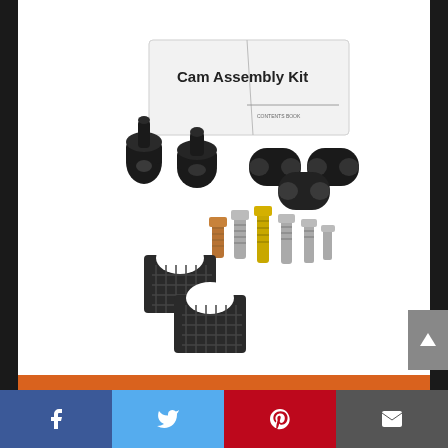[Figure (photo): Product photo of a Cam Assembly Kit showing black rubber grommets/seals of various shapes, screws and bolts (silver and gold colored), small mesh/grid pieces, and a white instruction booklet labeled 'Cam Assembly Kit', all laid out on a white background.]
CHECK PRICE